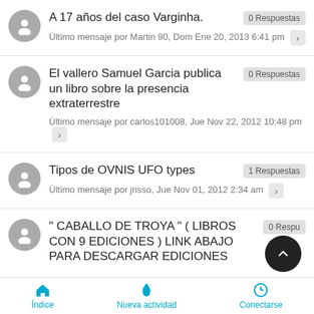A 17 años del caso Varginha. 0 Respuestas. Último mensaje por Martin 90, Dom Ene 20, 2013 6:41 pm
El vallero Samuel Garcia publica un libro sobre la presencia extraterrestre. 0 Respuestas. Último mensaje por carlos101008, Jue Nov 22, 2012 10:48 pm
Tipos de OVNIS UFO types. 1 Respuestas. Último mensaje por jrisso, Jue Nov 01, 2012 2:34 am
" CABALLO DE TROYA " ( LIBROS CON 9 EDICIONES ) LINK ABAJO PARA DESCARGAR EDICIONES. 0 Respuestas.
Índice   Nueva actividad   Conectarse